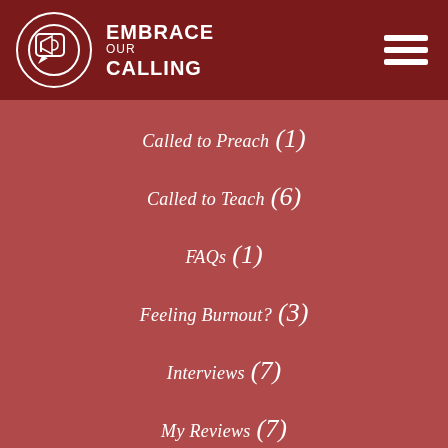EMBRACE OUR CALLING
Called to Preach (1)
Called to Teach (6)
FAQs (1)
Feeling Burnout? (3)
Interviews (7)
My Reviews (7)
Personal (6)